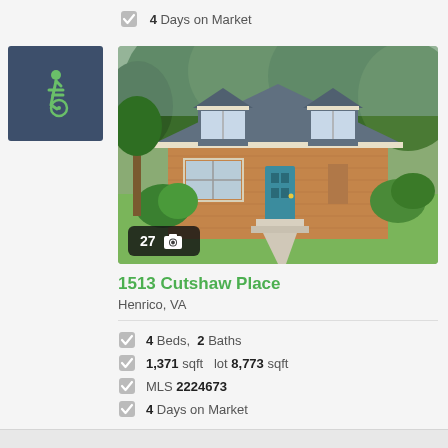4 Days on Market
[Figure (photo): Wheelchair accessibility icon (white person in wheelchair on dark blue/slate background)]
[Figure (photo): Exterior photo of a Cape Cod style house at 1513 Cutshaw Place, Henrico, VA — brick siding, grey roof with dormers, blue front door, green landscaping. Badge showing 27 photos.]
1513 Cutshaw Place
Henrico, VA
4 Beds, 2 Baths
1,371 sqft  lot 8,773 sqft
MLS 2224673
4 Days on Market